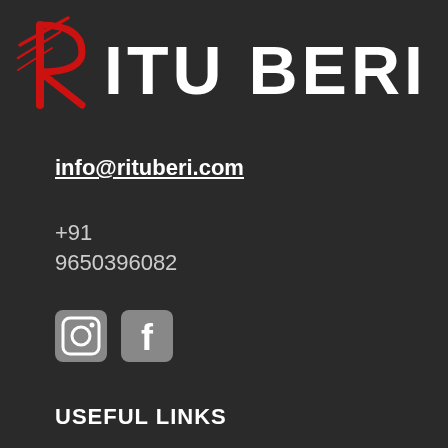[Figure (logo): Ritu Beri brand logo with stylized red R and white text ITU BERI]
info@rituberi.com
+91
9650396082
[Figure (other): Instagram and Facebook social media icons]
USEFUL LINKS